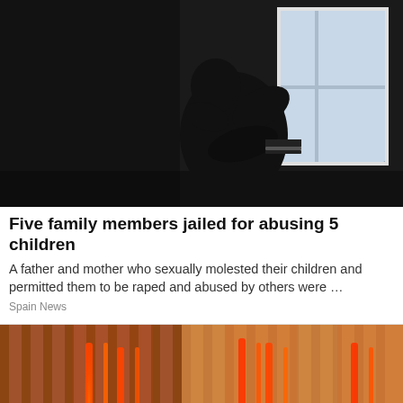[Figure (photo): Silhouette of a person sitting hunched by a window, dark moody lighting]
Five family members jailed for abusing 5 children
A father and mother who sexually molested their children and permitted them to be raped and abused by others were …
Spain News
[Figure (photo): Interior of an infrared sauna with glowing red heating elements mounted on wooden panels]